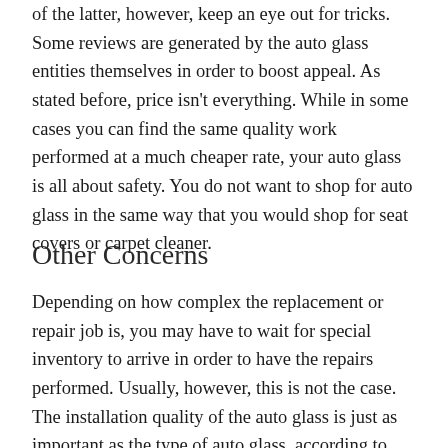of the latter, however, keep an eye out for tricks. Some reviews are generated by the auto glass entities themselves in order to boost appeal. As stated before, price isn't everything. While in some cases you can find the same quality work performed at a much cheaper rate, your auto glass is all about safety. You do not want to shop for auto glass in the same way that you would shop for seat covers or carpet cleaner.
Other Concerns
Depending on how complex the replacement or repair job is, you may have to wait for special inventory to arrive in order to have the repairs performed. Usually, however, this is not the case. The installation quality of the auto glass is just as important as the type of auto glass, according to Auto Glass University. Did you know that the windshield and auto glass can comprise up to three-